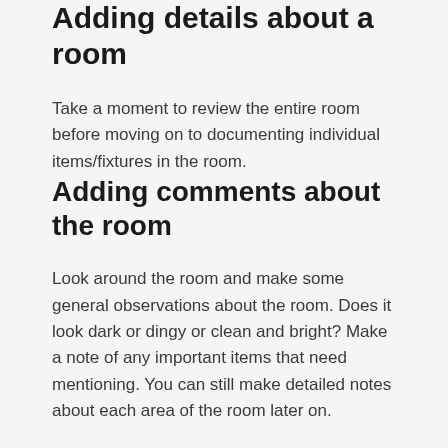Adding details about a room
Take a moment to review the entire room before moving on to documenting individual items/fixtures in the room.
Adding comments about the room
Look around the room and make some general observations about the room. Does it look dark or dingy or clean and bright? Make a note of any important items that need mentioning. You can still make detailed notes about each area of the room later on.